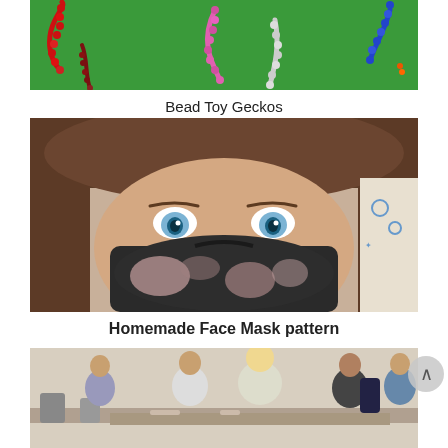[Figure (photo): Colorful bead toy geckos arranged on a green background, showing multiple gecko shapes made from beads in red, pink, white, and blue colors]
Bead Toy Geckos
[Figure (photo): Close-up photo of a child with brown hair and blue eyes wearing a homemade tie-dye face mask in dark and light colors]
Homemade Face Mask pattern
[Figure (photo): People sitting at tables in a room, partially visible at the bottom of the page, appearing to be engaged in an activity]